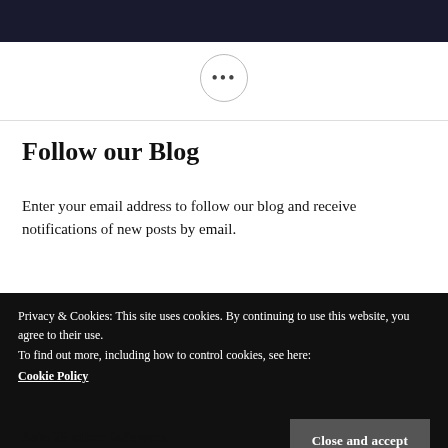[Figure (photo): Dark blue/black image at the top of the page, appears to show a person in shadow]
[Figure (other): Circular button with ellipsis (three dots) icon, outlined circle]
Follow our Blog
Enter your email address to follow our blog and receive notifications of new posts by email.
Privacy & Cookies: This site uses cookies. By continuing to use this website, you agree to their use.
To find out more, including how to control cookies, see here:
Cookie Policy
Close and accept
Join 25 other followers